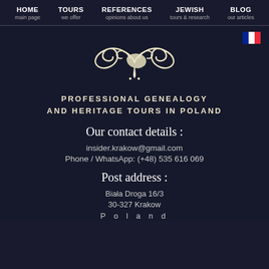HOME main page | TOURS we offer | REFERENCES opinions about us | JEWISH tours & research | BLOG our articles
[Figure (logo): Decorative ornamental flourish logo in cream/beige color]
PROFESSIONAL GENEALOGY AND HERITAGE TOURS IN POLAND
Our contact details :
insider.krakow@gmail.com
Phone / WhatsApp: (+48) 535 616 069
Post address :
Biała Droga 16/3
30-327 Krakow
P o l a n d